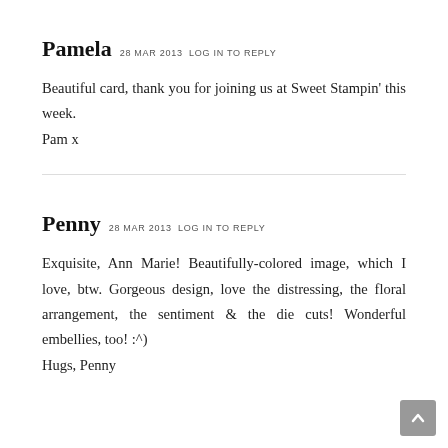Pamela 28 MAR 2013 LOG IN TO REPLY
Beautiful card, thank you for joining us at Sweet Stampin' this week.
Pam x
Penny 28 MAR 2013 LOG IN TO REPLY
Exquisite, Ann Marie! Beautifully-colored image, which I love, btw. Gorgeous design, love the distressing, the floral arrangement, the sentiment & the die cuts! Wonderful embellies, too! :^)
Hugs, Penny